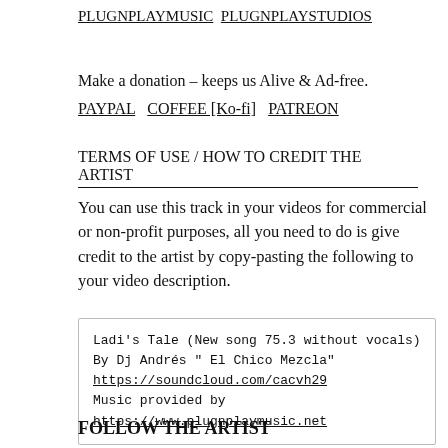PLUGNPLAYMUSIC   PLUGNPLAYSTUDIOS
Make a donation – keeps us Alive & Ad-free.
PAYPAL    COFFEE [Ko-fi]    PATREON
TERMS OF USE / HOW TO CREDIT THE ARTIST
You can use this track in your videos for commercial or non-profit purposes, all you need to do is give credit to the artist by copy-pasting the following to your video description.
Ladi's Tale (New song 75.3 without vocals)
By Dj Andrés " El Chico Mezcla"
https://soundcloud.com/cacvh29
Music provided by
https://www.plugnplaymusic.net
FOLLOW THE ARTIST